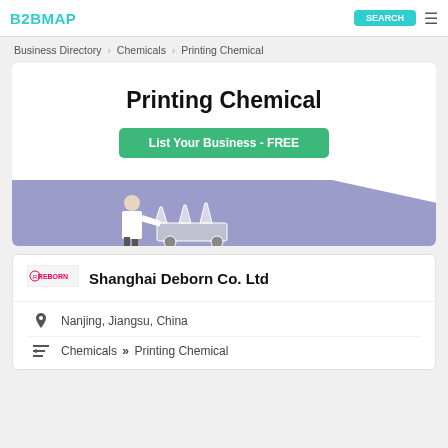B2BMAP [Search button]
Business Directory > Chemicals > Printing Chemical
Printing Chemical
List Your Business - FREE
[Figure (illustration): Illustration of a scientist in a white coat pushing a cart with laboratory flasks, on a purple/lavender background banner]
Shanghai Deborn Co. Ltd
Nanjing, Jiangsu, China
Chemicals >> Printing Chemical